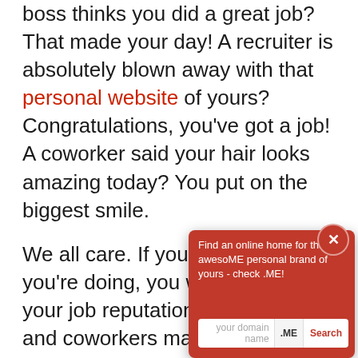boss thinks you did a great job? That made your day! A recruiter is absolutely blown away with that personal website of yours? Congratulations, you've got a job! A coworker said your hair looks amazing today? You put on the biggest smile.
We all care. If you enjoy what you're doing, you will care about your job reputation. Your bosses and coworkers may not know you too well, but they know of your pe know you b matters to represent c
[Figure (screenshot): Red popup/advertisement overlay with close button (X), text 'Find an online home for that awesoME personal brand of yours - check .ME!', and a domain search bar with 'your domain name', '.ME', and 'Search' button.]